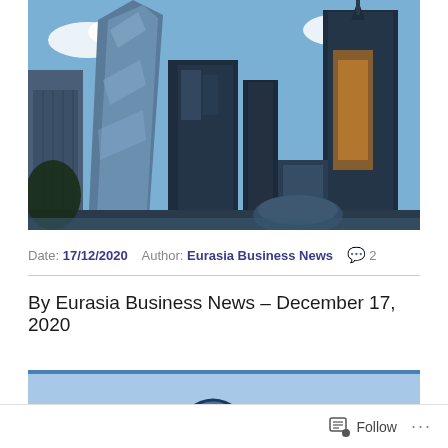[Figure (photo): Photograph of modern glass skyscrapers in Moscow City business district against a blue sky with clouds]
Date: 17/12/2020  Author: Eurasia Business News  💬 2
By Eurasia Business News – December 17, 2020
[Figure (photo): Partial view of another image, cropped at bottom of page]
Follow  ...